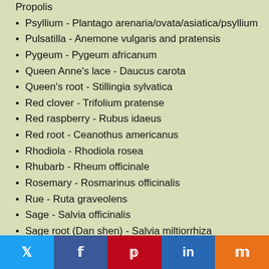Propolis
Psyllium - Plantago arenaria/ovata/asiatica/psyllium
Pulsatilla - Anemone vulgaris and pratensis
Pygeum - Pygeum africanum
Queen Anne's lace - Daucus carota
Queen's root - Stillingia sylvatica
Red clover - Trifolium pratense
Red raspberry - Rubus idaeus
Red root - Ceanothus americanus
Rhodiola - Rhodiola rosea
Rhubarb - Rheum officinale
Rosemary - Rosmarinus officinalis
Rue - Ruta graveolens
Sage - Salvia officinalis
Sage root (Dan shen) - Salvia miltiorrhiza
St. John's wort - Hypericum perforatum
Sarsaparilla -Smilax spp.
Saw palmetto - Serenoa repens
Twitter Facebook Pinterest LinkedIn Mix